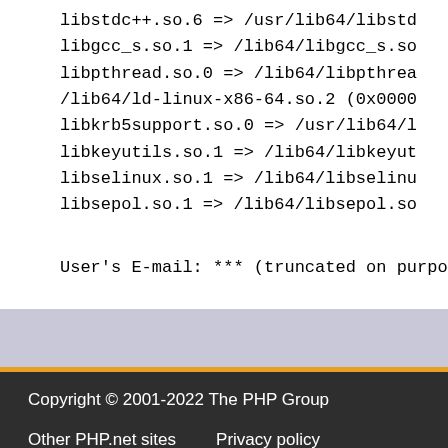libstdc++.so.6 => /usr/lib64/libstd
libgcc_s.so.1 => /lib64/libgcc_s.so
libpthread.so.0 => /lib64/libpthrea
/lib64/ld-linux-x86-64.so.2 (0x0000
libkrb5support.so.0 => /usr/lib64/l
libkeyutils.so.1 => /lib64/libkeyut
libselinux.so.1 => /lib64/libselinu
libsepol.so.1 => /lib64/libsepol.so
User's E-mail: *** (truncated on purpose) *
Copyright © 2001-2022 The PHP Group
Other PHP.net sites   Privacy policy